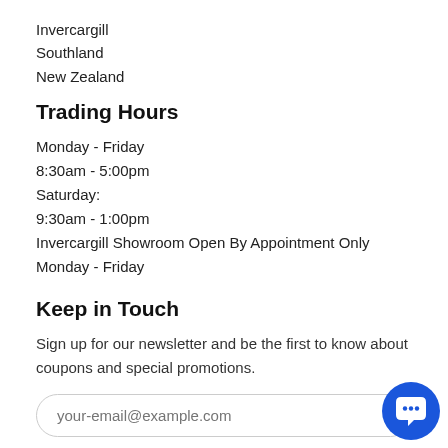Invercargill
Southland
New Zealand
Trading Hours
Monday - Friday
8:30am - 5:00pm
Saturday:
9:30am - 1:00pm
Invercargill Showroom Open By Appointment Only Monday - Friday
Keep in Touch
Sign up for our newsletter and be the first to know about coupons and special promotions.